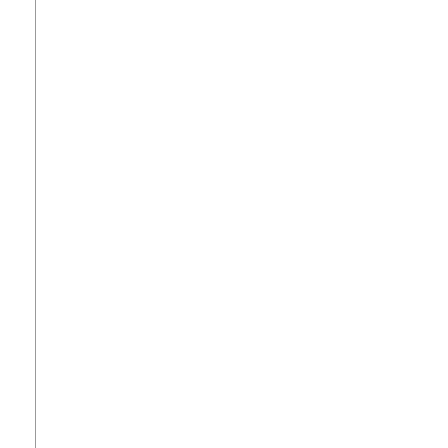as on... the tr... dog/c...
In this store, that b gifts f lover.
[Figure (photo): Bronze medals/coins with decorative designs, surrounded by small ornaments and tomatoes on a white background]
Bovin...
From impre riding oxen, beaut creat Here for th
[Figure (photo): Black and white feathers, curled and layered, on a light background with a watermark]
Feath...
For th fashic costu feathe quill p natur